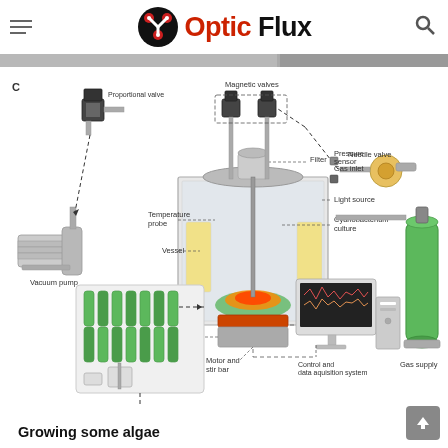Optic Flux
[Figure (engineering-diagram): Scientific diagram labeled 'C' showing a cyanobacterium culture growth system with labeled components: Proportional valve, Magnetic valves, Needle valve, Pressure sensor, Gas inlet, Filter, Temperature probe, Vessel, Light source, Cyanobacterium culture, Heating rubber, Motor and stir bar, Vacuum pump, Control and data acquisition system, Gas supply. Also shows an inset with multiple small vessels and a gas cylinder.]
Growing some algae